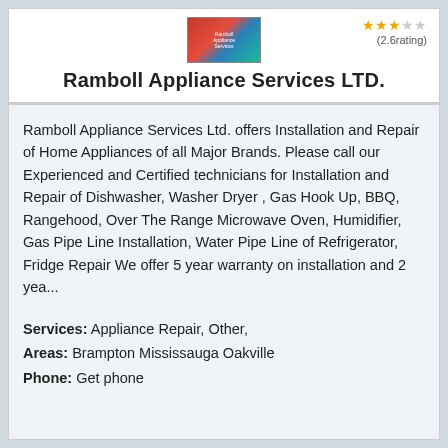[Figure (logo): Ramboll Appliance Services LTD. company logo with red and blue appliance imagery]
Ramboll Appliance Services LTD.
Ramboll Appliance Services Ltd. offers Installation and Repair of Home Appliances of all Major Brands. Please call our Experienced and Certified technicians for Installation and Repair of Dishwasher, Washer Dryer , Gas Hook Up, BBQ, Rangehood, Over The Range Microwave Oven, Humidifier, Gas Pipe Line Installation, Water Pipe Line of Refrigerator, Fridge Repair We offer 5 year warranty on installation and 2 yea...
Services: Appliance Repair, Other,
Areas: Brampton Mississauga Oakville
Phone: Get phone